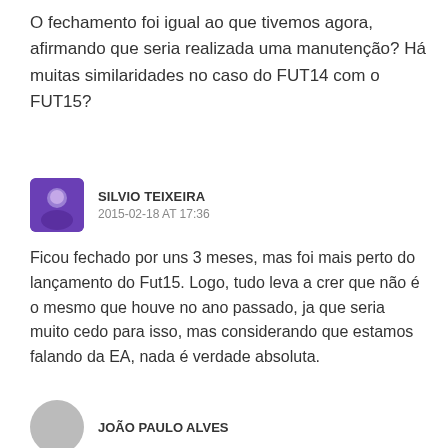O fechamento foi igual ao que tivemos agora, afirmando que seria realizada uma manutenção? Há muitas similaridades no caso do FUT14 com o FUT15?
SILVIO TEIXEIRA
2015-02-18 AT 17:36
Ficou fechado por uns 3 meses, mas foi mais perto do lançamento do Fut15. Logo, tudo leva a crer que não é o mesmo que houve no ano passado, ja que seria muito cedo para isso, mas considerando que estamos falando da EA, nada é verdade absoluta.
JOÃO PAULO ALVES